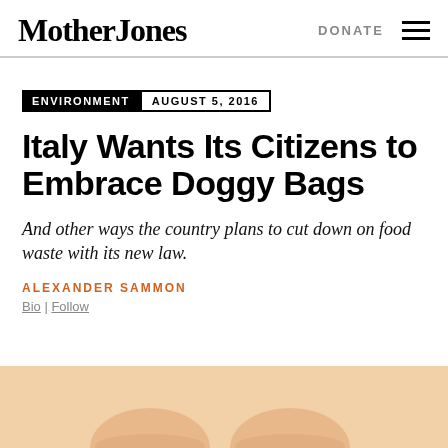Mother Jones | DONATE
ENVIRONMENT   AUGUST 5, 2016
Italy Wants Its Citizens to Embrace Doggy Bags
And other ways the country plans to cut down on food waste with its new law.
ALEXANDER SAMMON
Bio | Follow
[Figure (photo): Partial photo showing hands, likely holding food or a bag, cropped at the bottom of the page]